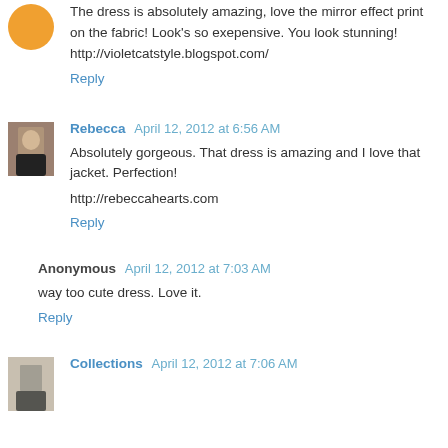The dress is absolutely amazing, love the mirror effect print on the fabric! Look's so exepensive. You look stunning! http://violetcatstyle.blogspot.com/
Reply
Rebecca April 12, 2012 at 6:56 AM
Absolutely gorgeous. That dress is amazing and I love that jacket. Perfection!

http://rebeccahearts.com
Reply
Anonymous April 12, 2012 at 7:03 AM
way too cute dress. Love it.
Reply
Collections April 12, 2012 at 7:06 AM